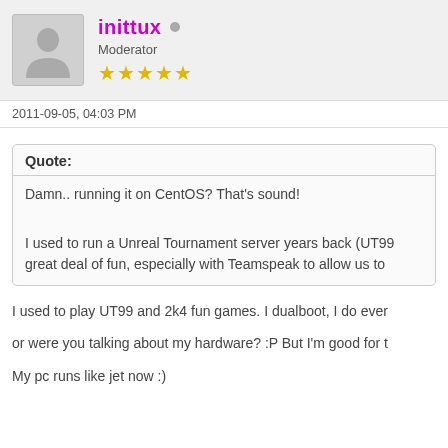inittux  Moderator ★★★★★
2011-09-05, 04:03 PM
Quote: Damn.. running it on CentOS? That's sound!
I used to run a Unreal Tournament server years back (UT99 great deal of fun, especially with Teamspeak to allow us to
I used to play UT99 and 2k4 fun games. I dualboot, I do ever
or were you talking about my hardware? :P But I'm good for t
My pc runs like jet now :)